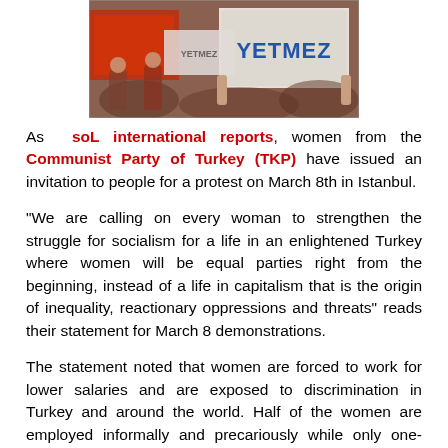[Figure (photo): Photograph of women at a protest holding signs reading 'YETMEZ', with red flags visible in the background.]
As soL international reports, women from the Communist Party of Turkey (TKP) have issued an invitation to people for a protest on March 8th in Istanbul.
"We are calling on every woman to strengthen the struggle for socialism for a life in an enlightened Turkey where women will be equal parties right from the beginning, instead of a life in capitalism that is the origin of inequality, reactionary oppressions and threats" reads their statement for March 8 demonstrations.
The statement noted that women are forced to work for lower salaries and are exposed to discrimination in Turkey and around the world. Half of the women are employed informally and precariously while only one-thirds of women are able to work in Turkey, the statement added.
The statement also reminded women are raped every four hours in Turkey, and one in every three women were